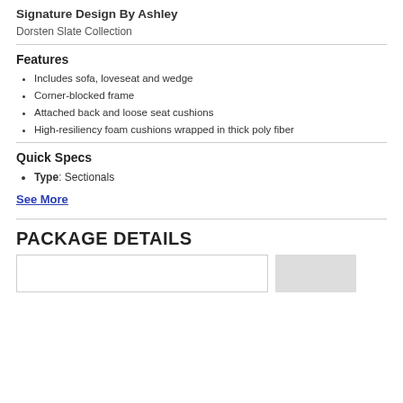Signature Design By Ashley
Dorsten Slate Collection
Features
Includes sofa, loveseat and wedge
Corner-blocked frame
Attached back and loose seat cushions
High-resiliency foam cushions wrapped in thick poly fiber
Quick Specs
Type: Sectionals
See More
PACKAGE DETAILS